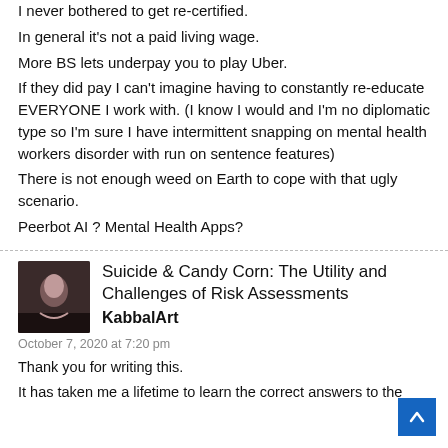I never bothered to get re-certified.
In general it's not a paid living wage.
More BS lets underpay you to play Uber.
If they did pay I can't imagine having to constantly re-educate EVERYONE I work with. (I know I would and I'm no diplomatic type so I'm sure I have intermittent snapping on mental health workers disorder with run on sentence features)
There is not enough weed on Earth to cope with that ugly scenario.
Peerbot AI ? Mental Health Apps?
[Figure (photo): Avatar photo of user KabbalArt — dark image of a person]
Suicide & Candy Corn: The Utility and Challenges of Risk Assessments
KabbalArt
October 7, 2020 at 7:20 pm
Thank you for writing this.
It has taken me a lifetime to learn the correct answers to the